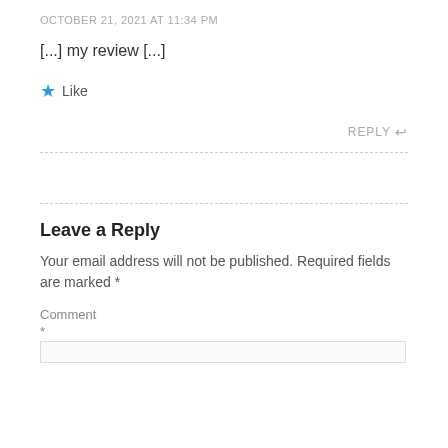OCTOBER 21, 2021 AT 11:34 PM
[...] my review [...]
★ Like
REPLY ↩
Leave a Reply
Your email address will not be published. Required fields are marked *
Comment
*